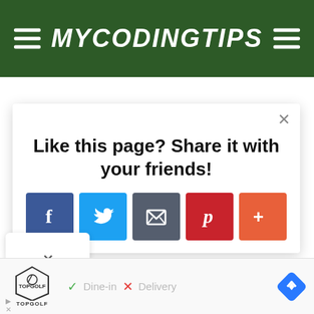MYCODINGTIPS
Like this page? Share it with your friends!
[Figure (screenshot): Social share modal with Facebook, Twitter, Email, Pinterest, and More (+) buttons]
[Figure (logo): TopGolf logo with shield emblem]
Dine-in  X  Delivery